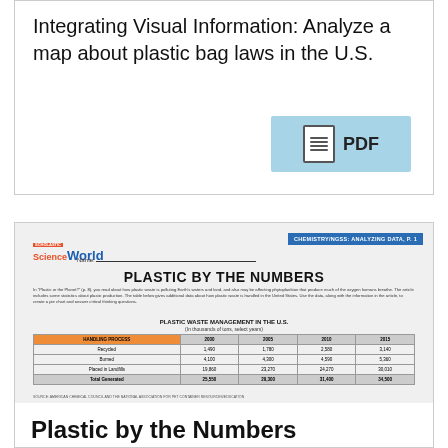Integrating Visual Information: Analyze a map about plastic bag laws in the U.S.
[Figure (other): Blue PDF button icon with document symbol and text 'PDF']
[Figure (screenshot): Preview of Science World worksheet titled 'PLASTIC BY THE NUMBERS' with a table showing Plastic Waste Management in the U.S. in thousands of tons for select years 2000, 2005, 2010, 2015. Header bar reads CHEMISTRY/NGSS: ANALYZING DATA, P. 1. Table rows: Recycled, Burned, Placed in Landfills, Total Generated.]
Plastic by the Numbers
CHEMISTRY
Analyzing Data: Create and interpret a